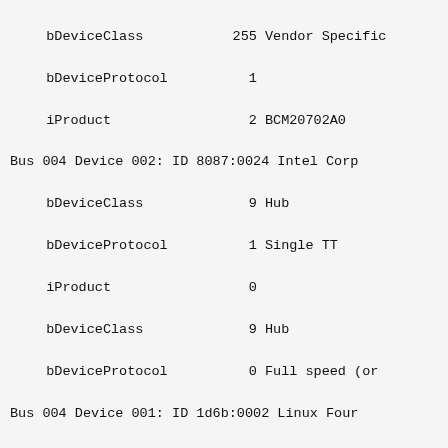bDeviceClass        255 Vendor Specific
  bDeviceProtocol       1
  iProduct              2 BCM20702A0
Bus 004 Device 002: ID 8087:0024 Intel Corp
  bDeviceClass          9 Hub
  bDeviceProtocol       1 Single TT
  iProduct              0
  bDeviceClass          9 Hub
  bDeviceProtocol       0 Full speed (or
Bus 004 Device 001: ID 1d6b:0002 Linux Four
  bDeviceClass          9 Hub
  bDeviceProtocol       0 Full speed (or
  iProduct              2 EHCI Host Contr
Bus 003 Device 002: ID 8087:0024 Intel Corp
  bDeviceClass          9 Hub
  bDeviceProtocol       1 Single TT
  iProduct              0
  bDeviceClass          9 Hub